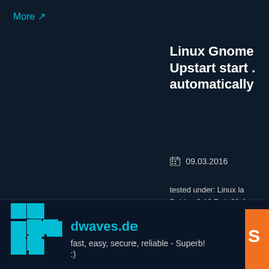More ↗
Linux Gnome Upstart start automatically
09.03.2016
tested under: Linux la Debian 3.16.7-ckt20-1 GNU/Linux in termin session-properties wa gnome-tweak-tool wh which lets you easily and [...]
More ↗
dwaves.de
fast, easy, secure, reliable - Superb! :)